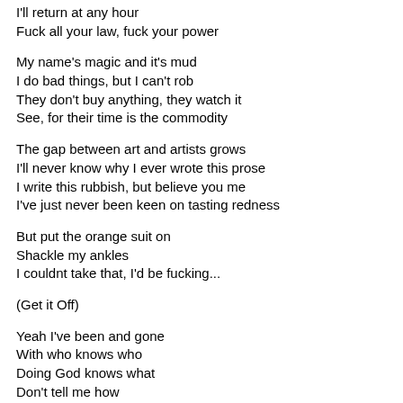I'll return at any hour
Fuck all your law, fuck your power
My name's magic and it's mud
I do bad things, but I can't rob
They don't buy anything, they watch it
See, for their time is the commodity
The gap between art and artists grows
I'll never know why I ever wrote this prose
I write this rubbish, but believe you me
I've just never been keen on tasting redness
But put the orange suit on
Shackle my ankles
I couldnt take that, I'd be fucking...
(Get it Off)
Yeah I've been and gone
With who knows who
Doing God knows what
Don't tell me how
I'll return at any hour
Fuck all your law, fuck your power